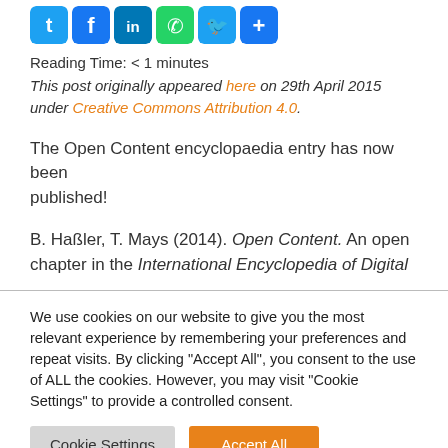[Figure (other): Social media sharing icons: Twitter, Facebook, LinkedIn, WhatsApp, and two others (blue/green)]
Reading Time: < 1 minutes
This post originally appeared here on 29th April 2015 under Creative Commons Attribution 4.0.
The Open Content encyclopaedia entry has now been published!
B. Haßler, T. Mays (2014). Open Content. An open chapter in the International Encyclopedia of Digital
We use cookies on our website to give you the most relevant experience by remembering your preferences and repeat visits. By clicking "Accept All", you consent to the use of ALL the cookies. However, you may visit "Cookie Settings" to provide a controlled consent.